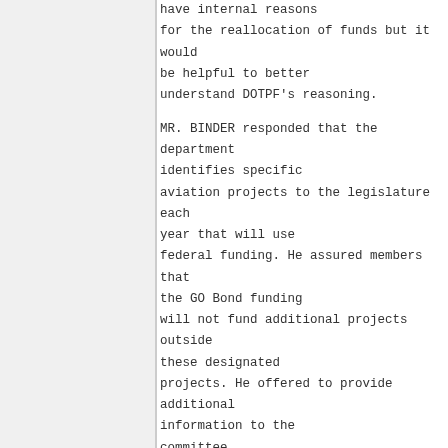have internal reasons for the reallocation of funds but it would be helpful to better understand DOTPF's reasoning.
MR. BINDER responded that the department identifies specific aviation projects to the legislature each year that will use federal funding. He assured members that the GO Bond funding will not fund additional projects outside these designated projects. He offered to provide additional information to the committee.
1:46:47 PM
SENATOR MICCICHE said he was struggling to